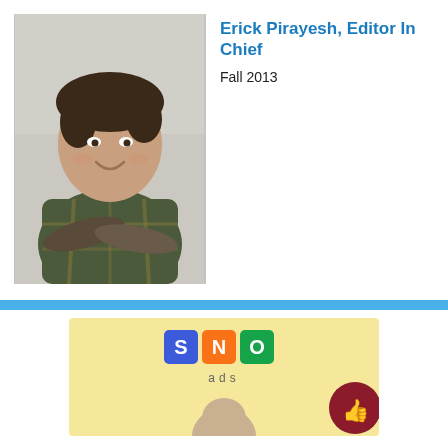[Figure (photo): Portrait photo of Erick Pirayesh, a young man with brown hair wearing a plaid flannel shirt, arms crossed, smiling, against a light wall background.]
Erick Pirayesh, Editor In Chief
Fall 2013
[Figure (logo): SNO ads logo on a yellow background with a partial image of a person below, and a dark red circular thumbs-up button on the right.]